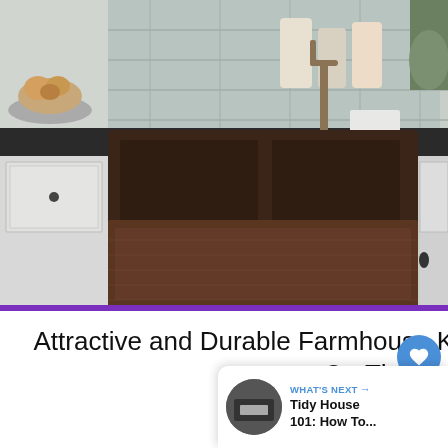[Figure (photo): A dark copper/bronze farmhouse apron-front kitchen sink installed in a kitchen with dark countertops, white cabinetry, and a brick-style tile backsplash. A gold/bronze faucet is visible in the background along with kitchen accessories and plants.]
Attractive and Durable Farmhouse Kitchen Sink – 15 Best Choice On The Market
[Figure (photo): Close-up of a dark farmhouse kitchen sink with a gold/brass faucet, viewed from above showing the dark matte basin surface.]
WHAT'S NEXT → Tidy House 101: How To...